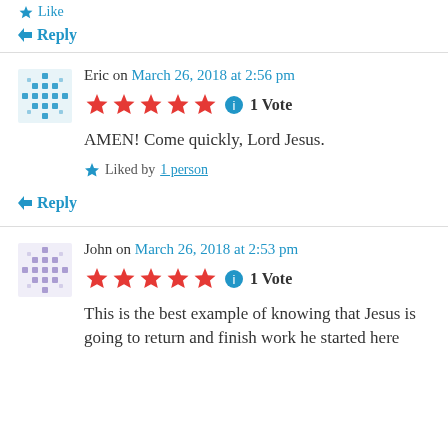Like
↳ Reply
Eric on March 26, 2018 at 2:56 pm
★★★★★ ℹ 1 Vote
AMEN! Come quickly, Lord Jesus.
★ Liked by 1 person
↳ Reply
John on March 26, 2018 at 2:53 pm
★★★★★ ℹ 1 Vote
This is the best example of knowing that Jesus is going to return and finish work he started here